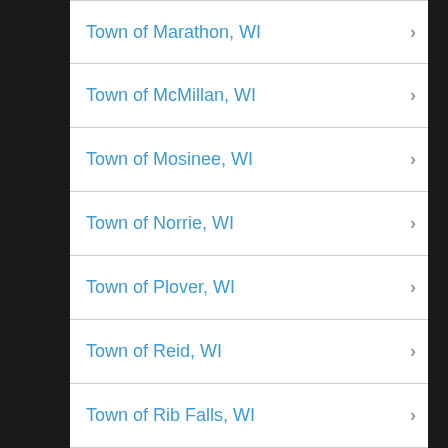Town of Marathon, WI
Town of McMillan, WI
Town of Mosinee, WI
Town of Norrie, WI
Town of Plover, WI
Town of Reid, WI
Town of Rib Falls, WI
Town of Rib Mountain, WI
Town of Rietbrock, WI
Town of Ringle, WI
Town of Spencer, WI
Town of Stettin, WI
Town of Texas, WI
Town of Wausau, WI
Town of Weston, WI
Town of Wien, WI
Village of Athens, WI